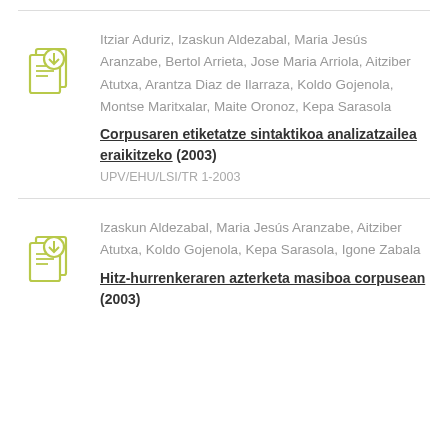Itziar Aduriz, Izaskun Aldezabal, Maria Jesús Aranzabe, Bertol Arrieta, Jose Maria Arriola, Aitziber Atutxa, Arantza Diaz de Ilarraza, Koldo Gojenola, Montse Maritxalar, Maite Oronoz, Kepa Sarasola
Corpusaren etiketatze sintaktikoa analizatzailea eraikitzeko (2003)
UPV/EHU/LSI/TR 1-2003
Izaskun Aldezabal, Maria Jesús Aranzabe, Aitziber Atutxa, Koldo Gojenola, Kepa Sarasola, Igone Zabala
Hitz-hurrenkeraren azterketa masiboa corpusean (2003)